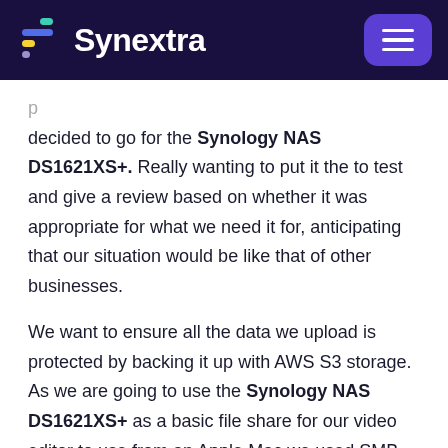Synextra
decided to go for the Synology NAS DS1621XS+. Really wanting to put it the to test and give a review based on whether it was appropriate for what we need it for, anticipating that our situation would be like that of other businesses.
We want to ensure all the data we upload is protected by backing it up with AWS S3 storage. As we are going to use the Synology NAS DS1621XS+ as a basic file share for our video editor to use from an Apple Mac we used SMB. As edited files will be transferred to here and will be the last copy, it is important to make sure the